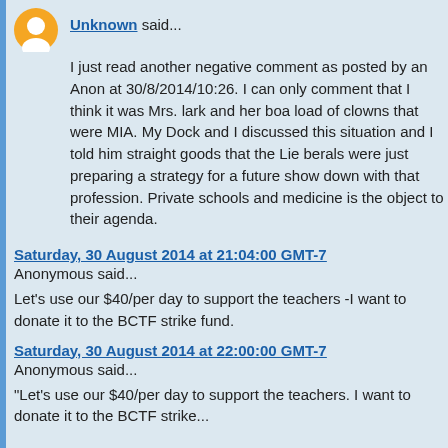Unknown said...
I just read another negative comment as posted by an Anon at 30/8/2014/10:26. I can only comment that I think it was Mrs. lark and her boa load of clowns that were MIA. My Dock and I discussed this situation and I told him straight goods that the Lie berals were just preparing a strategy for a future show down with that profession. Private schools and medicine is the object to their agenda.
Saturday, 30 August 2014 at 21:04:00 GMT-7
Anonymous said...
Let's use our $40/per day to support the teachers -I want to donate it to the BCTF strike fund.
Saturday, 30 August 2014 at 22:00:00 GMT-7
Anonymous said...
"Let's use our $40/per day to support the teachers. I want to donate it to the BCTF strike...